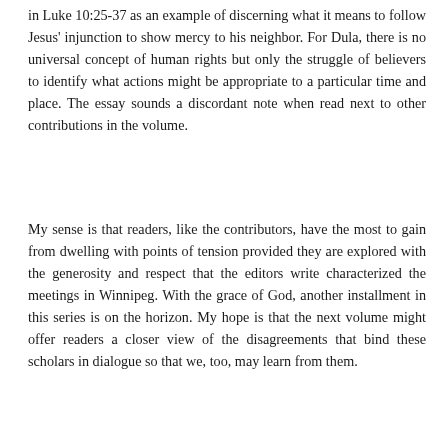in Luke 10:25-37 as an example of discerning what it means to follow Jesus' injunction to show mercy to his neighbor. For Dula, there is no universal concept of human rights but only the struggle of believers to identify what actions might be appropriate to a particular time and place. The essay sounds a discordant note when read next to other contributions in the volume.
My sense is that readers, like the contributors, have the most to gain from dwelling with points of tension provided they are explored with the generosity and respect that the editors write characterized the meetings in Winnipeg. With the grace of God, another installment in this series is on the horizon. My hope is that the next volume might offer readers a closer view of the disagreements that bind these scholars in dialogue so that we, too, may learn from them.